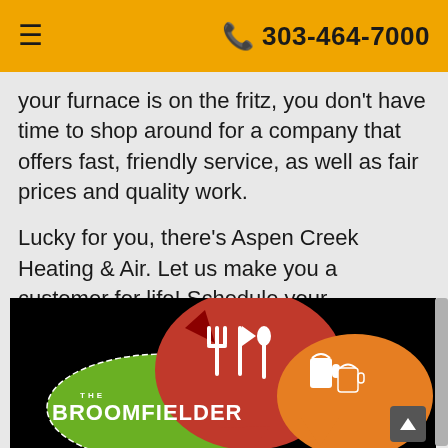☰   📞 303-464-7000
your furnace is on the fritz, you don't have time to shop around for a company that offers fast, friendly service, as well as fair prices and quality work.
Lucky for you, there's Aspen Creek Heating & Air. Let us make you a customer for life! Schedule your appointment today, or contact us at 303-464-7000 for immediate assistance.
[Figure (illustration): The Broomfielder logo on a black background with colorful speech bubbles — red bubble with fork, knife, spoon icons; green oval with 'THE BROOMFIELDER' text; orange bubble with drinks/beer mugs icons.]